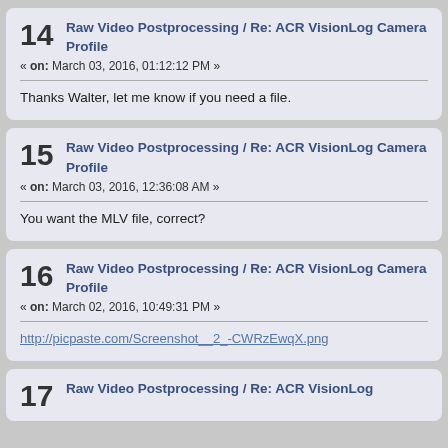14 Raw Video Postprocessing / Re: ACR VisionLog Camera Profile
« on: March 03, 2016, 01:12:12 PM »
Thanks Walter, let me know if you need a file.
15 Raw Video Postprocessing / Re: ACR VisionLog Camera Profile
« on: March 03, 2016, 12:36:08 AM »
You want the MLV file, correct?
16 Raw Video Postprocessing / Re: ACR VisionLog Camera Profile
« on: March 02, 2016, 10:49:31 PM »
http://picpaste.com/Screenshot__2_-CWRzEwqX.png
17 Raw Video Postprocessing / Re: ACR VisionLog